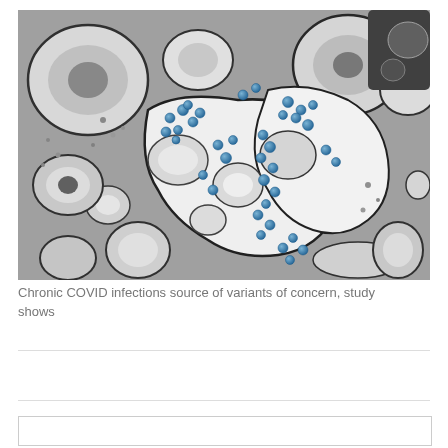[Figure (photo): Electron microscope image of coronavirus particles (SARS-CoV-2) shown as blue-colored spherical dots within and around cells. The image is black and white with blue false-color highlights on the viral particles, showing the virus infecting cells.]
Chronic COVID infections source of variants of concern, study shows
Medications